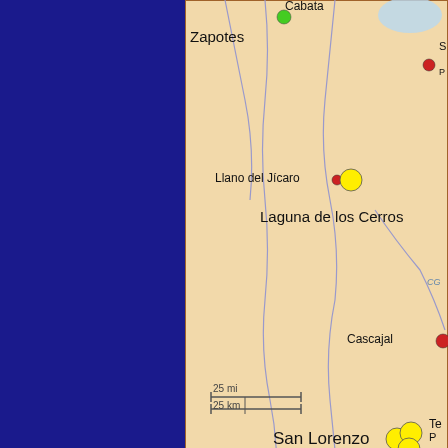[Figure (map): Map of the Tuxtla Mountains region in Veracruz, Mexico, showing Olmec sites including Zapotes, Cabata, Llano del Jicaro, Laguna de los Cerros, Cascajal, San Lorenzo, El Azuzul, Las Limas. Includes a scale bar (25 mi / 25 km) and a small inset map of Mexico showing the region location. Sites marked with red and yellow circles.]
The Tuxtla Mountains in the state of Veracruz, Mex...
It is also the heartland of the Olmecs,